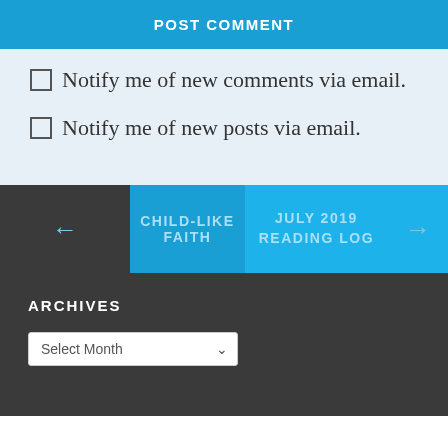POST COMMENT
Notify me of new comments via email.
Notify me of new posts via email.
← CHILD-LIKE FAITH   JULY 2019 READING LOG →
ARCHIVES
Select Month